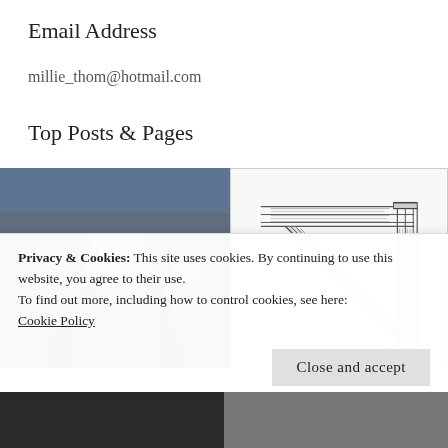Email Address
millie_thom@hotmail.com
Top Posts & Pages
[Figure (photo): Photo of medieval reenactors in chainmail and helmets with swords]
[Figure (illustration): Line drawing/schematic of a wooden corner joint or frame detail]
Privacy & Cookies: This site uses cookies. By continuing to use this website, you agree to their use.
To find out more, including how to control cookies, see here:
Cookie Policy
Close and accept